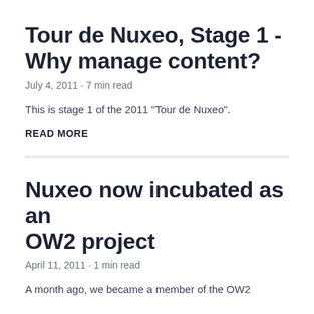Tour de Nuxeo, Stage 1 - Why manage content?
July 4, 2011 · 7 min read
This is stage 1 of the 2011 "Tour de Nuxeo".
READ MORE
Nuxeo now incubated as an OW2 project
April 11, 2011 · 1 min read
A month ago, we became a member of the OW2